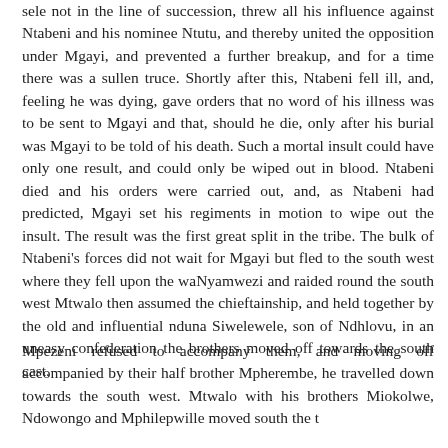sele not in the line of succession, threw all his influence against Ntabeni and his nominee Ntutu, and thereby united the opposition under Mgayi, and prevented a further breakup, and for a time there was a sullen truce. Shortly after this, Ntabeni fell ill, and, feeling he was dying, gave orders that no word of his illness was to be sent to Mgayi and that, should he die, only after his burial was Mgayi to be told of his death. Such a mortal insult could have only one result, and could only be wiped out in blood. Ntabeni died and his orders were carried out, and, as Ntabeni had predicted, Mgayi set his regiments in motion to wipe out the insult. The result was the first great split in the tribe. The bulk of Ntabeni's forces did not wait for Mgayi but fled to the south west where they fell upon the waNyamwezi and raided round the south west Mtwalo then assumed the chieftainship, and held together by the old and influential nduna Siwelewele, son of Ndhlovu, in an uneasy confederation the brothers moved off towards the south cast.
Mpezeni refused to accompany them, and moving off accompanied by their half brother Mpherembe, he travelled down towards the south west. Mtwalo with his brothers Miokolwe, Ndowongo and Mphilepwille moved south the t